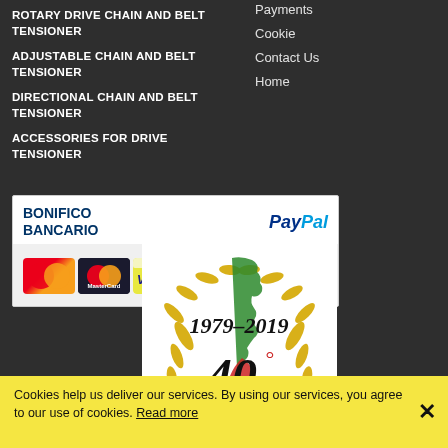ROTARY DRIVE CHAIN AND BELT TENSIONER
ADJUSTABLE CHAIN AND BELT TENSIONER
DIRECTIONAL CHAIN AND BELT TENSIONER
ACCESSORIES FOR DRIVE TENSIONER
Payments
Cookie
Contact Us
Home
[Figure (screenshot): Payment methods banner showing BONIFICO BANCARIO, PayPal, Maestro, Mastercard, Visa Debit, and Visa card logos]
[Figure (logo): 40th anniversary logo with Italian map, wheat wreath, and text '1979-2019 40°']
Cookies help us deliver our services. By using our services, you agree to our use of cookies. Read more